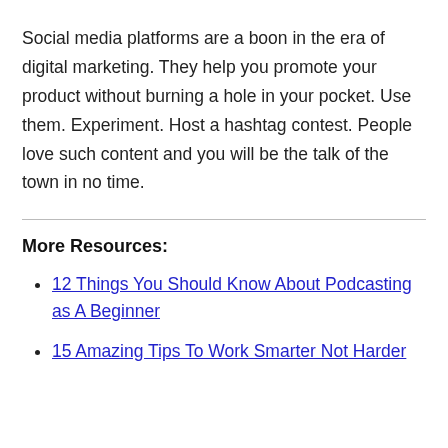Social media platforms are a boon in the era of digital marketing. They help you promote your product without burning a hole in your pocket. Use them. Experiment. Host a hashtag contest. People love such content and you will be the talk of the town in no time.
More Resources:
12 Things You Should Know About Podcasting as A Beginner
15 Amazing Tips To Work Smarter Not Harder